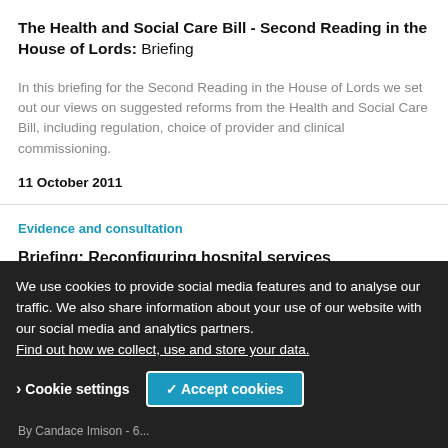The Health and Social Care Bill - Second Reading in the House of Lords: Briefing
In this briefing for the Second Reading in the House of Lords we set out our views on suggested reforms from the Health and Social Care Bill, including regulation, choice of provider and clinical commissioning.
11 October 2011
Evidence and consultation
Briefing: Reconfiguring hospital services
The King's Fund's briefing on reconfiguration calls for...
We use cookies to provide social media features and to analyse our traffic. We also share information about your use of our website with our social media and analytics partners. Find out how we collect, use and store your data.
Cookie settings
✓ Accept cookies